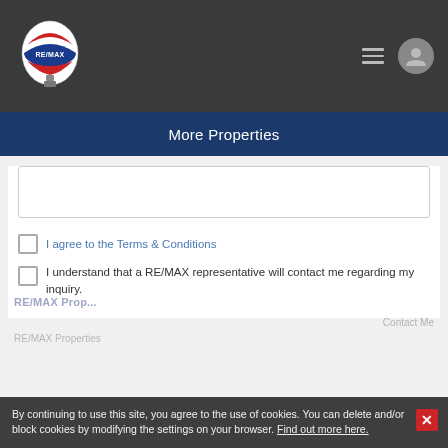RE/MAX | More Properties
More Properties
I agree to the Terms & Conditions
I understand that a RE/MAX representative will contact me regarding my inquiry.
Send message
RE/MAX Properties
RE/MAX Properties
Contact Me
RE/MAX Properties
By continuing to use this site, you agree to the use of cookies. You can delete and/or block cookies by modifying the settings on your browser. Find out more here.